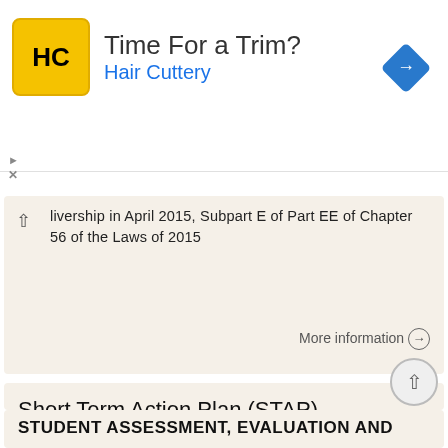[Figure (other): Hair Cuttery advertisement banner with logo, text 'Time For a Trim?' and 'Hair Cuttery', and navigation arrow icon]
livership in April 2015, Subpart E of Part EE of Chapter 56 of the Laws of 2015
More information →
Short Term Action Plan (STAP)
Short Term Action Plan (STAP) 10/14/2017 1 Managing Complex Change Vision Skills Incentives Resources Action Plan Assessment Meaningful Change Skills Incentives Resources Action Plan Assessment Confusion
More information →
STUDENT ASSESSMENT, EVALUATION AND